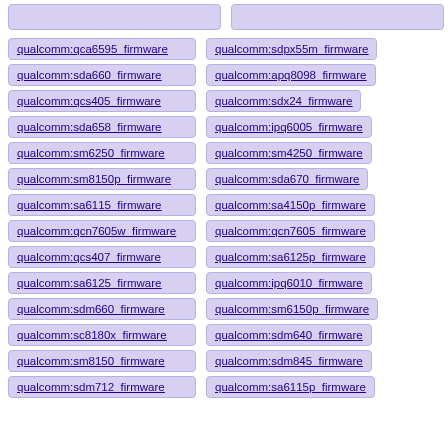qualcomm:qca6595_firmware
qualcomm:sdpx55m_firmware
qualcomm:sda660_firmware
qualcomm:apq8098_firmware
qualcomm:qcs405_firmware
qualcomm:sdx24_firmware
qualcomm:sda658_firmware
qualcomm:ipq6005_firmware
qualcomm:sm6250_firmware
qualcomm:sm4250_firmware
qualcomm:sm8150p_firmware
qualcomm:sda670_firmware
qualcomm:sa6115_firmware
qualcomm:sa4150p_firmware
qualcomm:qcn7605w_firmware
qualcomm:qcn7605_firmware
qualcomm:qcs407_firmware
qualcomm:sa6125p_firmware
qualcomm:sa6125_firmware
qualcomm:ipq6010_firmware
qualcomm:sdm660_firmware
qualcomm:sm6150p_firmware
qualcomm:sc8180x_firmware
qualcomm:sdm640_firmware
qualcomm:sm8150_firmware
qualcomm:sdm845_firmware
qualcomm:sdm712_firmware
qualcomm:sa6115p_firmware